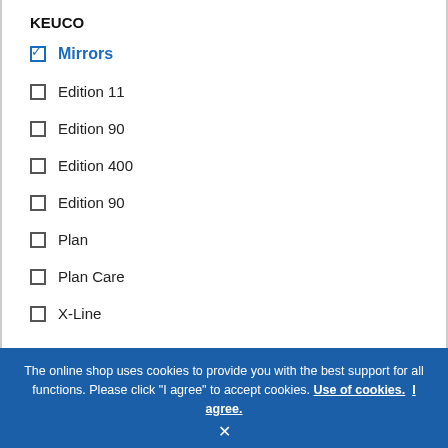KEUCO
☑ Mirrors
☐ Edition 11
☐ Edition 90
☐ Edition 400
☐ Edition 90
☐ Plan
☐ Plan Care
☐ X-Line
The online shop uses cookies to provide you with the best support for all functions. Please click "I agree" to accept cookies. Use of cookies. I agree. ×